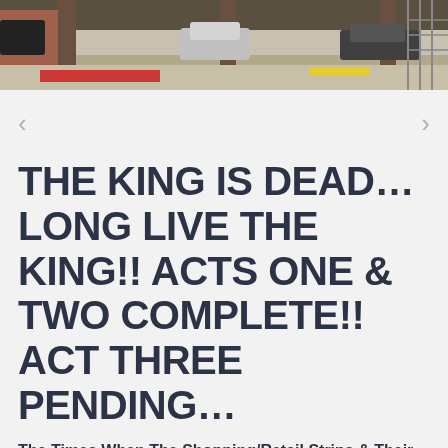[Figure (photo): Photograph of a parking area or carpark with vehicles, brick building, red road markings and a yellow line visible, viewed from under a covered structure.]
THE KING IS DEAD… LONG LIVE THE KING!! ACTS ONE & TWO COMPLETE!! ACT THREE PENDING…
The Times When The Shopping/Retail Strips & Their